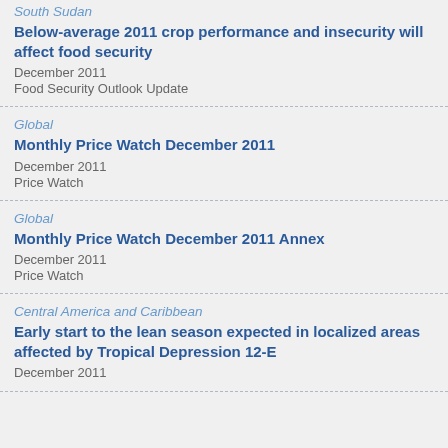South Sudan
Below-average 2011 crop performance and insecurity will affect food security
December 2011
Food Security Outlook Update
Global
Monthly Price Watch December 2011
December 2011
Price Watch
Global
Monthly Price Watch December 2011 Annex
December 2011
Price Watch
Central America and Caribbean
Early start to the lean season expected in localized areas affected by Tropical Depression 12-E
December 2011